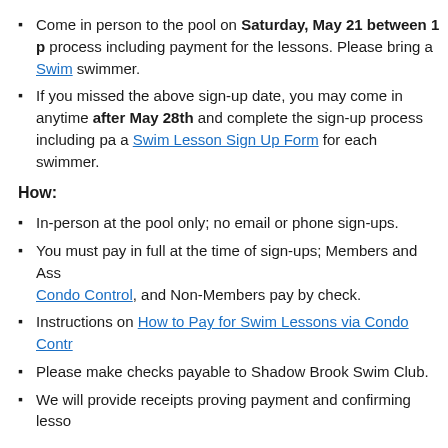Come in person to the pool on Saturday, May 21 between 1 p[m] process including payment for the lessons. Please bring a Swim [Lesson Sign Up Form] for each swimmer.
If you missed the above sign-up date, you may come in anytime after May 28th and complete the sign-up process including pa[yment]. Please bring a Swim Lesson Sign Up Form for each swimmer.
How:
In-person at the pool only; no email or phone sign-ups.
You must pay in full at the time of sign-ups; Members and Asso[ciates pay via] Condo Control, and Non-Members pay by check.
Instructions on How to Pay for Swim Lessons via Condo Contr[ol]
Please make checks payable to Shadow Brook Swim Club.
We will provide receipts proving payment and confirming lesso[ns]
Sign-Up Procedures: